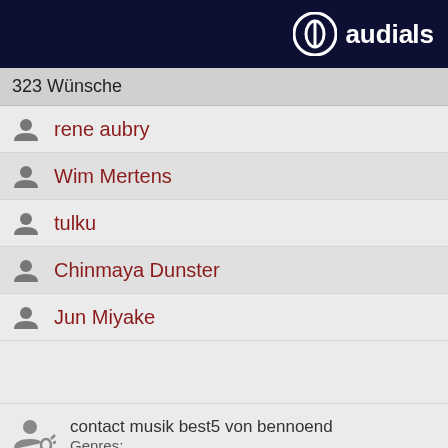audials
323 Wünsche
rene aubry
Wim Mertens
tulku
Chinmaya Dunster
Jun Miyake
contact musik best5 von bennoend
Genres:
386 Wünsche
Sand If...